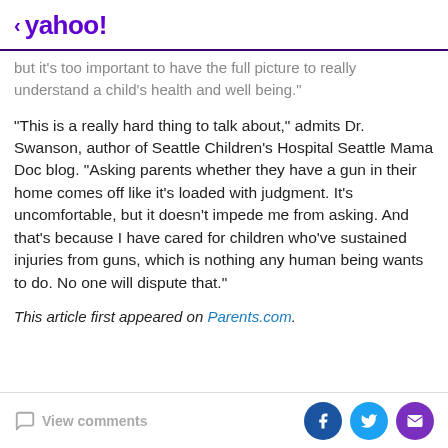< yahoo!
but it's too important to have the full picture to really understand a child's health and well being."
"This is a really hard thing to talk about," admits Dr. Swanson, author of Seattle Children's Hospital Seattle Mama Doc blog. "Asking parents whether they have a gun in their home comes off like it's loaded with judgment. It's uncomfortable, but it doesn't impede me from asking. And that's because I have cared for children who've sustained injuries from guns, which is nothing any human being wants to do. No one will dispute that."
This article first appeared on Parents.com.
View comments